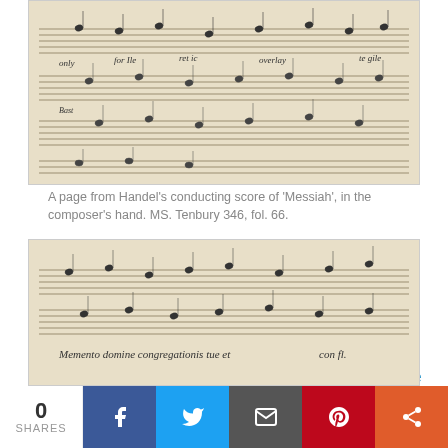[Figure (photo): A page from Handel's conducting score of Messiah manuscript, showing handwritten musical notation on staff lines]
A page from Handel's conducting score of ‘Messiah’, in the composer’s hand. MS. Tenbury 346, fol. 66.
As one would expect, the collection is rich in sacred music, both English and continental, and includes many important manuscript part-books dating from Tudor times. Among these are several sets which formerly belonged to the Norfolk Catholic gentleman and amateur musician, Edward Paston (1550-1630). A number of the Tenbury manuscripts were recently digitized for DIAMM (the Digital Image Archive of Medieval Manuscripts) as part of the AHRC-funded Tudor Part Books Project.
[Figure (photo): Another page of medieval manuscript music with handwritten notation and text below reading 'Memento domine congregationis tue et']
0 SHARES  [Facebook] [Twitter] [Email] [Pinterest] [More]